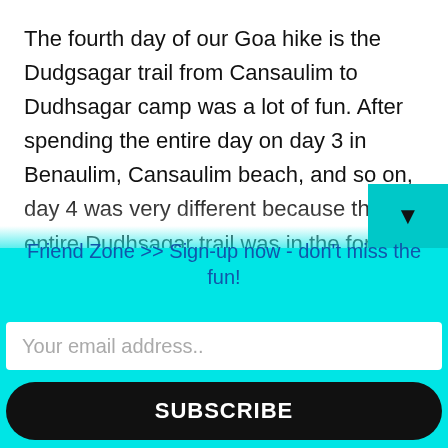The fourth day of our Goa hike is the Dudgsagar trail from Cansaulim to Dudhsagar camp was a lot of fun. After spending the entire day on day 3 in Benaulim, Cansaulim beach, and so on, day 4 was very different because the entire Dudhsagar trail was in the forest. The first 45 kilometers were via railway, followed by a muddy jeep route and seven stream crossings in the forest. On this day, we don't get to view the Dudhsagar waterfa...
Friend Zone >> Sign-up now - don't miss the fun!
Your email address..
SUBSCRIBE